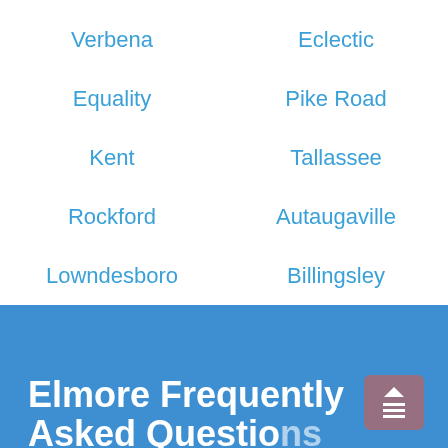Verbena
Eclectic
Equality
Pike Road
Kent
Tallassee
Rockford
Autaugaville
Lowndesboro
Billingsley
Elmore Frequently Asked Questions